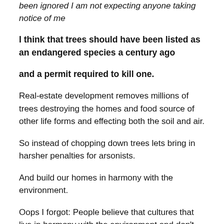been ignored I am not expecting anyone taking notice of me
I think that trees should have been listed as an endangered species a century ago
and a permit required to kill one.
Real-estate development removes millions of trees destroying the homes and food source of other life forms and effecting both the soil and air.
So instead of chopping down trees lets bring in harsher penalties for arsonists.
And build our homes in harmony with the environment.
Oops I forgot: People believe that cultures that live in harmony with the environment and don't worship money